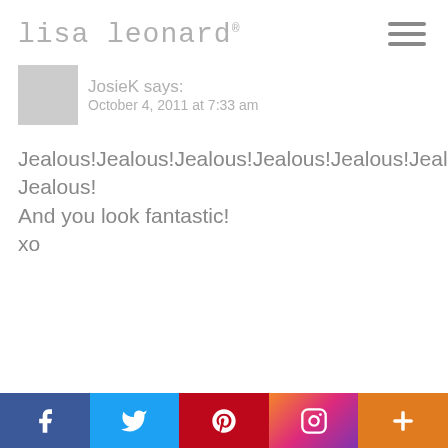lisa leonard®
JosieK says:
October 4, 2011 at 7:33 am
Jealous!Jealous!Jealous!Jealous!Jealous!Jealous!Jealous!Jealous!Jealous!Jealous!Jealous!Jealous!Jealous!Jealous!Jealous!Jealous!Jealous!Jealous!Jealous!Jealous!Jealous!Jealous!Jealous!Jealous!Jealous! Jealous!
And you look fantastic!
xo
REPLY
Ashley R. says: